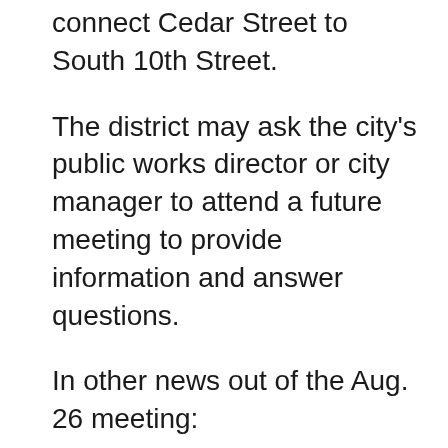connect Cedar Street to South 10th Street.
The district may ask the city's public works director or city manager to attend a future meeting to provide information and answer questions.
In other news out of the Aug. 26 meeting:
• The district has two vacancies on its Budget Committee and plans to advertise for volunteers to fill those seats. One seat became vacant with Rick Wells leaving for his position on the School Board. The other one became available when a member moved out of the community. The district also plans to